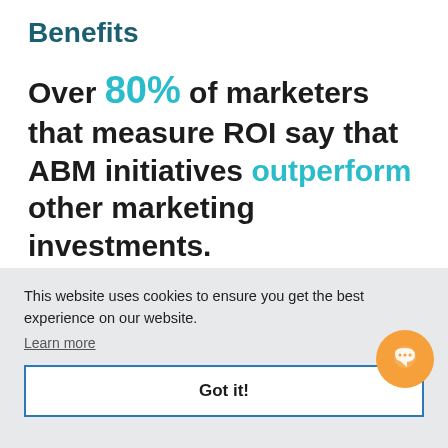Benefits
Over 80% of marketers that measure ROI say that ABM initiatives outperform other marketing investments.
This website uses cookies to ensure you get the best experience on our website. Learn more
Got it!
prospect's unique situation and offering a